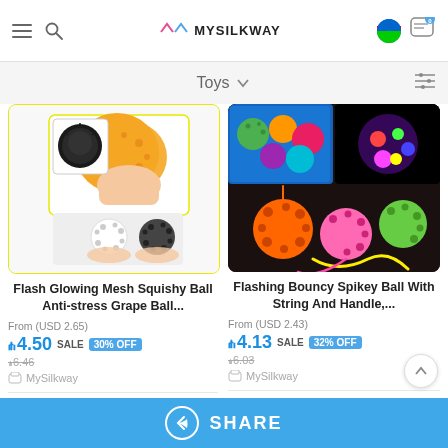MYSILKWAY
Toys
[Figure (photo): Flash Glowing Mesh Squishy Ball Anti-stress Grape Ball product image showing colorful squishy ball toys]
Flash Glowing Mesh Squishy Ball Anti-stress Grape Ball...
From (USD 2.65)
₼4.50  SALE 30% OFF
₼6.46
MySilkway
2 quantity available
[Figure (photo): Flashing Bouncy Spikey Ball With String And Handle product image showing colorful spikey bouncy balls]
Flashing Bouncy Spikey Ball With String And Handle,...
From (USD 2.43)
₼4.13  SALE 32% OFF
₼6.03
MySilkway
2 quantity available
SHARE